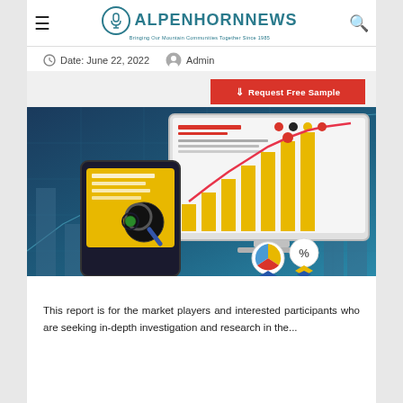ALPENHORNNEWS - Bringing Our Mountain Communities Together Since 1985
Date: June 22, 2022   Admin
[Figure (illustration): Market research illustration showing a desktop monitor displaying a bar chart with growing yellow bars and a red trend line, a tablet with analytics icons, and circular icons for pie chart and percentage in the foreground, set against a blue gradient with line chart background]
This report is for the market players and interested participants who are seeking in-depth investigation and research in the...